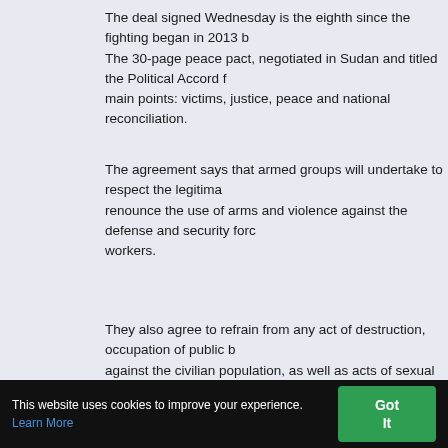The deal signed Wednesday is the eighth since the fighting began in 2013 b... The 30-page peace pact, negotiated in Sudan and titled the Political Accord f... main points: victims, justice, peace and national reconciliation.
The agreement says that armed groups will undertake to respect the legitima... renounce the use of arms and violence against the defense and security forc... workers.
They also agree to refrain from any act of destruction, occupation of public b... against the civilian population, as well as acts of sexual or gender-based viol...
In exchange, armed groups are able to create political parties.
The government, meanwhile, will monitor the agreement and analyze the rei... who formerly served as civil servants or military.
This website uses cookies to improve your experience. Learn More Got It